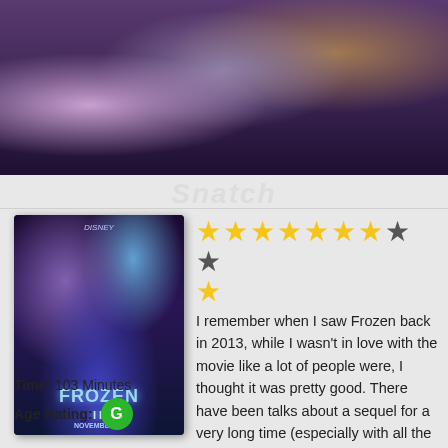[Figure (photo): Movie still from Frozen II showing Elsa with white/silver braid on left, Anna in purple jacket in center, and Kristoff on right, dark purple background]
[Figure (photo): Frozen II movie poster showing characters Elsa, Anna, Olaf, Kristoff with blue magical swirls and Disney logo at top, Frozen II title prominent]
[Figure (infographic): Star rating showing 7 filled gold stars and 2 empty dark stars plus one additional filled star on second row, totaling 8 out of 10 stars]
I remember when I saw Frozen back in 2013, while I wasn't in love with the movie like a lot of people were, I thought it was pretty good. There have been talks about a sequel for a very long time (especially with all the acclaim and love it has been
Time: 103 Minutes
Age Rating: G